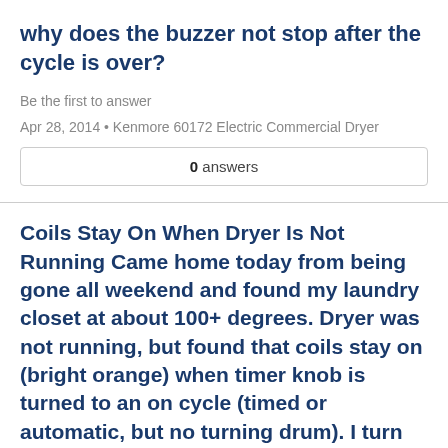why does the buzzer not stop after the cycle is over?
Be the first to answer
Apr 28, 2014 • Kenmore 60172 Electric Commercial Dryer
0 answers
Coils Stay On When Dryer Is Not Running Came home today from being gone all weekend and found my laundry closet at about 100+ degrees. Dryer was not running, but found that coils stay on (bright orange) when timer knob is turned to an on cycle (timed or automatic, but no turning drum). I turn the knob to an off position and the coils